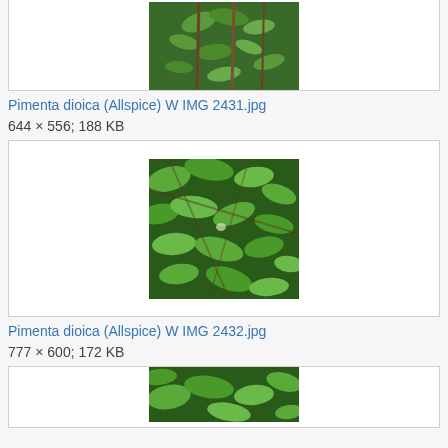[Figure (photo): Photo of Pimenta dioica (Allspice) plant with green leaves and brown stems, cropped top portion visible]
Pimenta dioica (Allspice) W IMG 2431.jpg
644 × 556; 188 KB
[Figure (photo): Photo of Pimenta dioica (Allspice) plant showing dense green leaf canopy from above]
Pimenta dioica (Allspice) W IMG 2432.jpg
777 × 600; 172 KB
[Figure (photo): Photo of Pimenta dioica (Allspice) plant, partially visible at bottom of page]